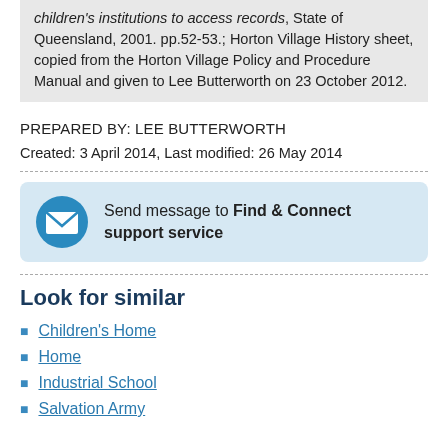children's institutions to access records, State of Queensland, 2001. pp.52-53.; Horton Village History sheet, copied from the Horton Village Policy and Procedure Manual and given to Lee Butterworth on 23 October 2012.
PREPARED BY: LEE BUTTERWORTH
Created: 3 April 2014, Last modified: 26 May 2014
Send message to Find & Connect support service
Look for similar
Children's Home
Home
Industrial School
Salvation Army